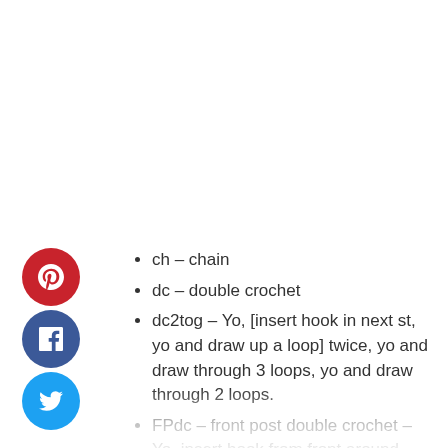[Figure (other): Pinterest share button (red circle with P icon)]
[Figure (other): Facebook share button (dark blue circle with f icon)]
[Figure (other): Twitter share button (light blue circle with bird icon)]
ch – chain
dc – double crochet
dc2tog – Yo, [insert hook in next st, yo and draw up a loop] twice, yo and draw through 3 loops, yo and draw through 2 loops.
FPdc – front post double crochet – Yo, insert hook from front around back to front of st in previous round, yo and draw up a loop, [yo and draw through 2 loops] twice. A video tutorial for this stitch is available here.